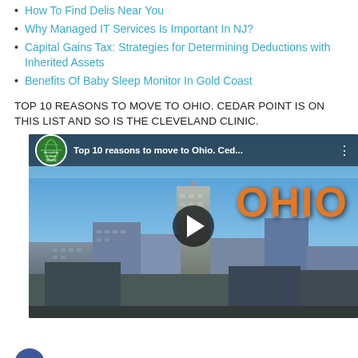How To Find Delis Near You
Why Managed IT Services Is Important In NJ?
Capital Gains Tax: Strategies for Determining Deductions with Inherited Assets
Benefits Of Baby Sleep Monitor In Gold Coast
TOP 10 REASONS TO MOVE TO OHIO. CEDAR POINT IS ON THIS LIST AND SO IS THE CLEVELAND CLINIC.
[Figure (screenshot): YouTube video thumbnail showing Cleveland city skyline with blue sky. Video title reads 'Top 10 reasons to move to Ohio. Ced...' with a globe channel icon, three-dot menu, and large play button. 'OHIO' text appears in large orange letters. Social share icons (Facebook, Google+, Twitter, Plus) appear on the left side.]